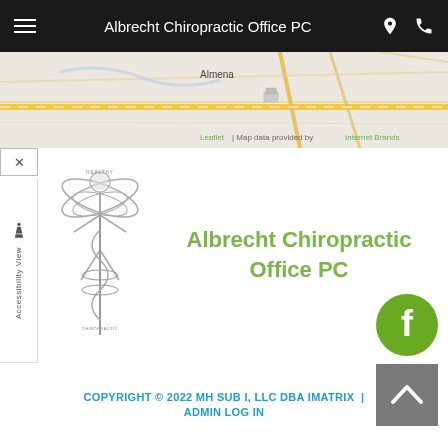Albrecht Chiropractic Office PC
[Figure (map): Street map showing Almena area with road overlay. Attribution: Leaflet | Map data provided by Internet Brands]
[Figure (logo): Albrecht Chiropractic logo — caduceus figure with wings and HEALTHY CHIROPRACTIC text]
Albrecht Chiropractic Office PC
[Figure (other): Facebook button (green circle with white F) and back-to-top button (grey square with upward chevron)]
COPYRIGHT © 2022 MH SUB I, LLC DBA IMATRIX  |  ADMIN LOG IN